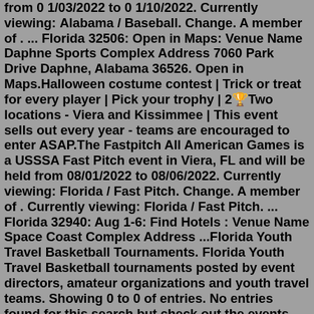from 0 1/03/2022 to 0 1/10/2022. Currently viewing: Alabama / Baseball. Change. A member of . ... Florida 32506: Open in Maps: Venue Name Daphne Sports Complex Address 7060 Park Drive Daphne, Alabama 36526. Open in Maps.Halloween costume contest | Trick or treat for every player | Pick your trophy | 2🏆Two locations - Viera and Kissimmee | This event sells out every year - teams are encouraged to enter ASAP.The Fastpitch All American Games is a USSSA Fast Pitch event in Viera, FL and will be held from 08/01/2022 to 08/06/2022. Currently viewing: Florida / Fast Pitch. Change. A member of . Currently viewing: Florida / Fast Pitch. ... Florida 32940: Aug 1-6: Find Hotels : Venue Name Space Coast Complex Address ...Florida Youth Travel Basketball Tournaments. Florida Youth Travel Basketball tournaments posted by event directors, amateur organizations and youth travel teams. Showing 0 to 0 of entries. No entries found for this search but check out the events directory for all tournaments, leagues and camps/clinics.Jun 26, 2022 · Welcome to the USSSA